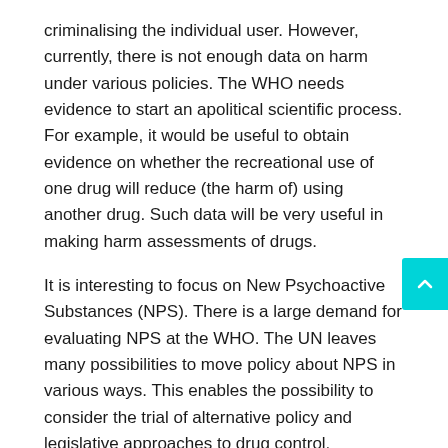criminalising the individual user. However, currently, there is not enough data on harm under various policies. The WHO needs evidence to start an apolitical scientific process. For example, it would be useful to obtain evidence on whether the recreational use of one drug will reduce (the harm of) using another drug. Such data will be very useful in making harm assessments of drugs.
It is interesting to focus on New Psychoactive Substances (NPS). There is a large demand for evaluating NPS at the WHO. The UN leaves many possibilities to move policy about NPS in various ways. This enables the possibility to consider the trial of alternative policy and legislative approaches to drug control.
4. Prospects for initiatives at the European level
Cannabis regulation policy shifts in Europe are mainly taking place bottom up at the municipal and regional level and are initiated either by municipalities and/or grassroots initiatives. National governments tend to be an obstacle often actively discouraging cannabis policy